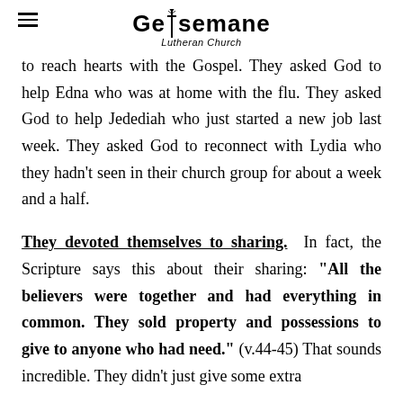Gethsemane Lutheran Church
to reach hearts with the Gospel. They asked God to help Edna who was at home with the flu. They asked God to help Jedediah who just started a new job last week. They asked God to reconnect with Lydia who they hadn't seen in their church group for about a week and a half.
They devoted themselves to sharing. In fact, the Scripture says this about their sharing: "All the believers were together and had everything in common. They sold property and possessions to give to anyone who had need." (v.44-45) That sounds incredible. They didn't just give some extra